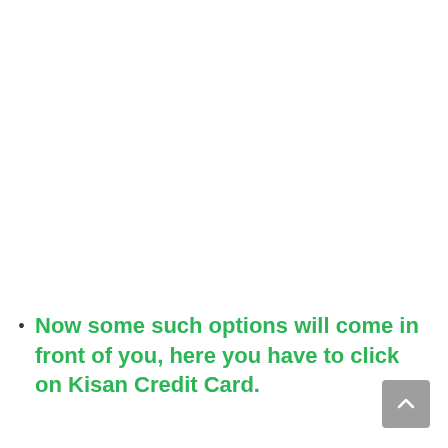Now some such options will come in front of you, here you have to click on Kisan Credit Card.